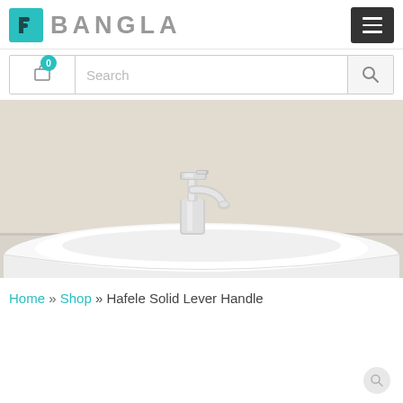[Figure (logo): P Bangla logo with teal square icon containing letter P and grey uppercase text BANGLA]
[Figure (screenshot): Navigation header with hamburger menu button (dark grey)]
[Figure (screenshot): Search bar with cart icon showing badge 0 and search button]
[Figure (photo): Photo of a chrome bathroom basin faucet on a white vessel sink, beige wall background]
Home » Shop » Hafele Solid Lever Handle